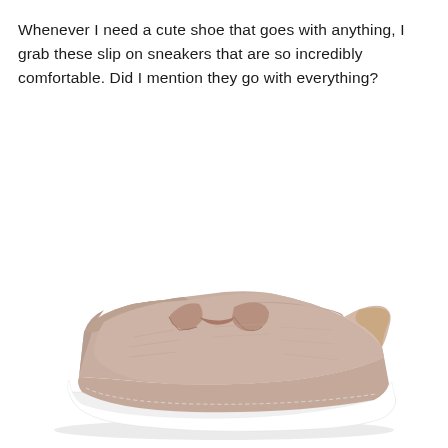Whenever I need a cute shoe that goes with anything, I grab these slip on sneakers that are so incredibly comfortable. Did I mention they go with everything?
[Figure (photo): A taupe/blush pink suede slip-on mule sneaker with a white rubber sole, shown in a 3/4 angle product photo on a white background.]